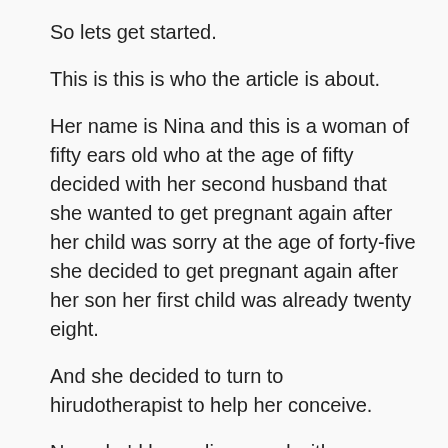So lets get started.
This is this is who the article is about.
Her name is Nina and this is a woman of fifty ears old who at the age of fifty decided with her second husband that she wanted to get pregnant again after her child was sorry at the age of forty-five she decided to get pregnant again after her son her first child was already twenty eight.
And she decided to turn to hirudotherapist to help her conceive.
Now she'd been diagnosed with